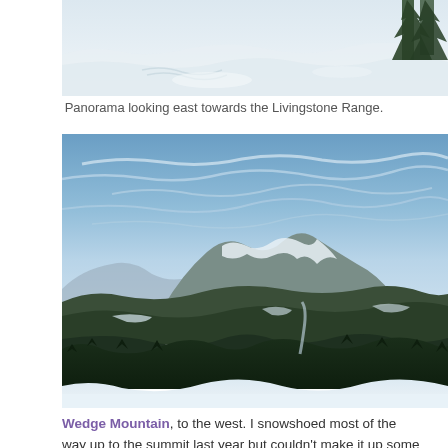[Figure (photo): Partial panoramic view looking east towards the Livingstone Range — snowy landscape with ski tracks and fir trees visible at edge, cropped at top of page.]
Panorama looking east towards the Livingstone Range.
[Figure (photo): Mountain panorama showing Wedge Mountain to the west — wide landscape with snow-covered peaks, forested ridges, blue sky with wispy clouds, and snow in foreground.]
Wedge Mountain, to the west. I snowshoed most of the way up to the summit last year but couldn't make it up some very deep